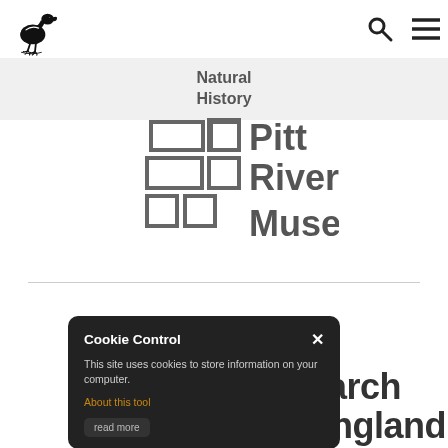Natural History Museum / Pitt Rivers Museum — website header with logo, search icon, and menu icon
Natural History
[Figure (logo): Pitt Rivers Museum logo with geometric square/rectangle grid pattern and text 'Pitt Rivers Museum' in grey]
[Figure (screenshot): Cookie Control popup banner on dark background with close X button, text 'This site uses cookies to store information on your computer.', 'About this tool' link in orange, and 'read more' button]
earch England